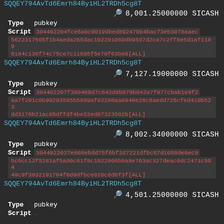SQQEY794AvTd6Emrh84ByiHL2TRDh5cg8T (truncated top)
8,001.25000000 SICASH
Type  pubkey
Script  304402204fce5a0c00199bed89247bb4bac73eb3078aaec5622317505f1b4aeda265dac102201060db95d7d2ca7c2ff8e5d1af11896184c136f74c75ce7c11695f5e70f63b88[ALL]
SQQEY794AvTd6Emrh84ByiHL2TRDh5cg8T
7,127.19000000 SICASH
Type  pubkey
Script  304402207f380469d7c642d6b079b842a7f877cbab1e9f2aa7f201c0b90293585b5999af02200aa0949e28c8aedd725cfed410b523dd3176b21ac85dffdf4be52ed07323502b[ALL]
SQQEY794AvTd6Emrh84ByiHL2TRDh5cg8T
8,002.34000000 SICASH
Type  pubkey
Script  3044022027e808ebdd75f6bf2d7221dfbc67d1088de0ec8bc6cc12f5281af5a00c61f8c1022006b8a8e763ac327deac0dc2471c59449c9f3832191704f0d9dfbce020c6d8f3f[ALL]
SQQEY794AvTd6Emrh84ByiHL2TRDh5cg8T
4,501.25000000 SICASH
Type  pubkey
Script  (partial, cut off)